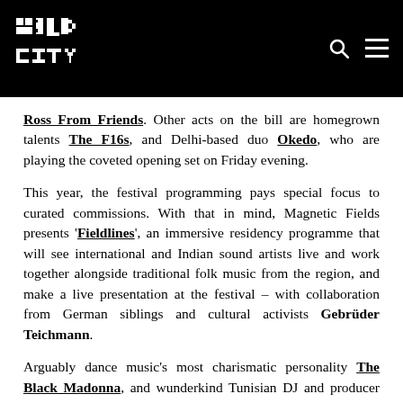Wild City logo with search and menu icons
Ross From Friends. Other acts on the bill are homegrown talents The F16s, and Delhi-based duo Okedo, who are playing the coveted opening set on Friday evening.
This year, the festival programming pays special focus to curated commissions. With that in mind, Magnetic Fields presents 'Fieldlines', an immersive residency programme that will see international and Indian sound artists live and work together alongside traditional folk music from the region, and make a live presentation at the festival – with collaboration from German siblings and cultural activists Gebrüder Teichmann.
Arguably dance music's most charismatic personality The Black Madonna, and wunderkind Tunisian DJ and producer Deena Abdelwahed will be leading the Red Bull North Stage,